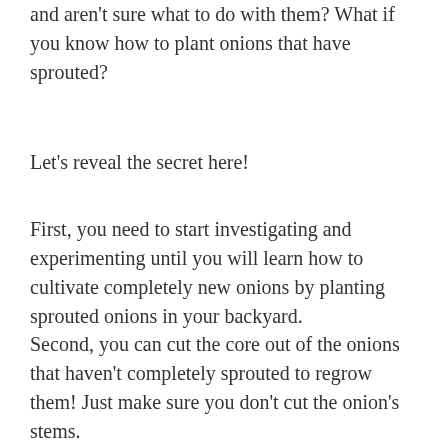and aren't sure what to do with them? What if you know how to plant onions that have sprouted?
Let's reveal the secret here!
First, you need to start investigating and experimenting until you will learn how to cultivate completely new onions by planting sprouted onions in your backyard.
Second, you can cut the core out of the onions that haven't completely sprouted to regrow them! Just make sure you don't cut the onion's stems.
Also Read: White Spots on Spinach Leaves
You can also purchase onion seeds and start growing onions by their seeds, or you can save